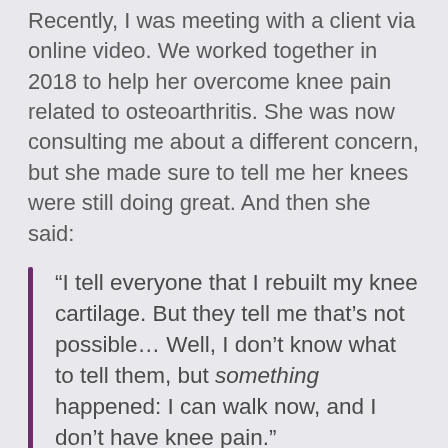Recently, I was meeting with a client via online video. We worked together in 2018 to help her overcome knee pain related to osteoarthritis. She was now consulting me about a different concern, but she made sure to tell me her knees were still doing great. And then she said:
“I tell everyone that I rebuilt my knee cartilage. But they tell me that’s not possible… Well, I don’t know what to tell them, but something happened: I can walk now, and I don’t have knee pain.”
When an X-ray or MRI reveals